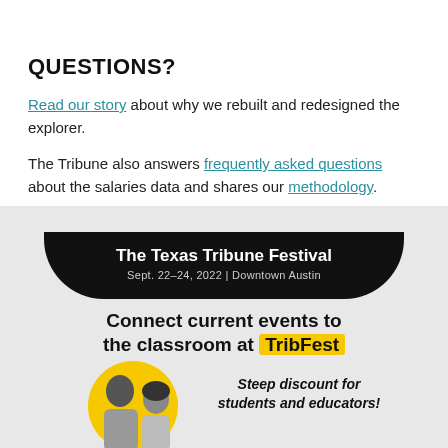QUESTIONS?
Read our story about why we rebuilt and redesigned the explorer.
The Tribune also answers frequently asked questions about the salaries data and shares our methodology.
[Figure (infographic): The Texas Tribune Festival advertisement banner. Black curved banner with text: The Texas Tribune Festival, Sept. 22-24, 2022 | Downtown Austin. Below: Connect current events to the classroom at TribFest (TribFest highlighted in yellow). Steep discount for students and educators! With two people (a man and a woman) against a yellow circle background.]